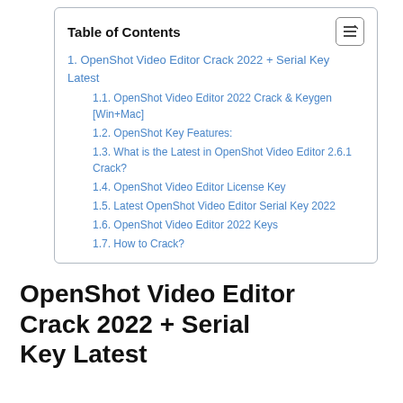Table of Contents
1. OpenShot Video Editor Crack 2022 + Serial Key Latest
1.1. OpenShot Video Editor 2022 Crack & Keygen [Win+Mac]
1.2. OpenShot Key Features:
1.3. What is the Latest in OpenShot Video Editor 2.6.1 Crack?
1.4. OpenShot Video Editor License Key
1.5. Latest OpenShot Video Editor Serial Key 2022
1.6. OpenShot Video Editor 2022 Keys
1.7. How to Crack?
OpenShot Video Editor Crack 2022 + Serial Key Latest